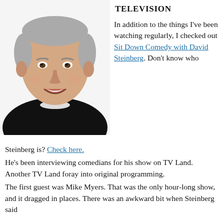TELEVISION
[Figure (photo): Headshot of David Steinberg, a middle-aged man with gray hair, smiling, wearing a black shirt, white background.]
In addition to the things I’ve been watching regularly, I checked out Sit Down Comedy with David Steinberg. Don’t know who Steinberg is? Check here. He’s been interviewing comedians for his show on TV Land. Another TV Land foray into original programming. The first guest was Mike Myers. That was the only hour-long show, and it dragged in places. There was an awkward bit when Steinberg said